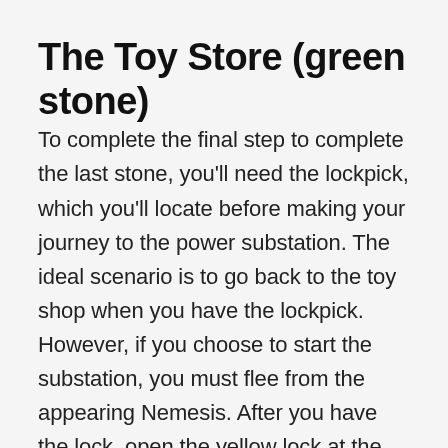The Toy Store (green stone)
To complete the final step to complete the last stone, you'll need the lockpick, which you'll locate before making your journey to the power substation. The ideal scenario is to go back to the toy shop when you have the lockpick. However, if you choose to start the substation, you must flee from the appearing Nemesis. After you have the lock, open the yellow lock at the entrance to the play store. Inside, there's a small box that has green stone. Return to the clock at the station where you can put another stone. If the two previous